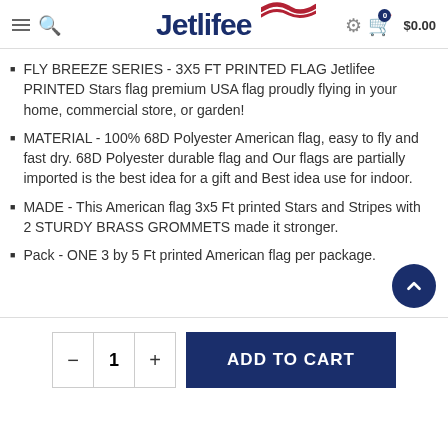Jetlifee — $0.00
FLY BREEZE SERIES - 3X5 FT PRINTED FLAG Jetlifee PRINTED Stars flag premium USA flag proudly flying in your home, commercial store, or garden!
MATERIAL - 100% 68D Polyester American flag, easy to fly and fast dry. 68D Polyester durable flag and Our flags are partially imported is the best idea for a gift and Best idea use for indoor.
MADE - This American flag 3x5 Ft printed Stars and Stripes with 2 STURDY BRASS GROMMETS made it stronger.
Pack - ONE 3 by 5 Ft printed American flag per package.